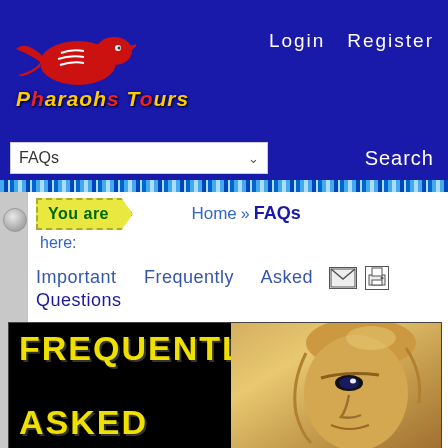[Figure (logo): Pharaohs Tours logo with red bird and blue/red stylized text]
Login  Register
FAQs  Search
You are here:  Home » FAQs
Important Frequently Asked Questions
[Figure (photo): Banner image with yellow text FREQUENTLY ASKED on black background with pharaoh statue face on right side]